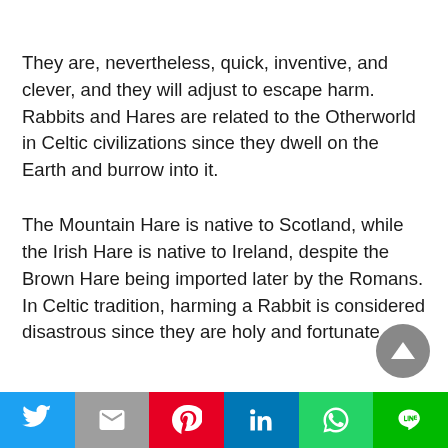They are, nevertheless, quick, inventive, and clever, and they will adjust to escape harm. Rabbits and Hares are related to the Otherworld in Celtic civilizations since they dwell on the Earth and burrow into it.
The Mountain Hare is native to Scotland, while the Irish Hare is native to Ireland, despite the Brown Hare being imported later by the Romans. In Celtic tradition, harming a Rabbit is considered disastrous since they are holy and fortunate.
Social share bar: Twitter, Gmail, Pinterest, LinkedIn, WhatsApp, LINE